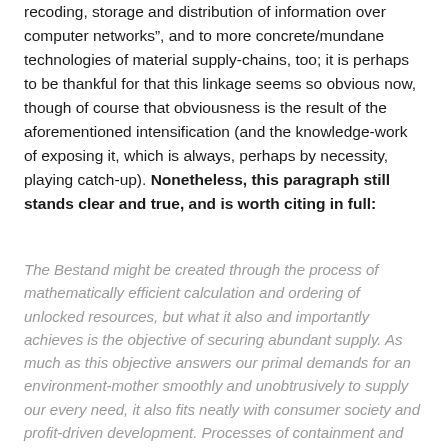recoding, storage and distribution of information over computer networks”, and to more concrete/mundane technologies of material supply-chains, too; it is perhaps to be thankful for that this linkage seems so obvious now, though of course that obviousness is the result of the aforementioned intensification (and the knowledge-work of exposing it, which is always, perhaps by necessity, playing catch-up). Nonetheless, this paragraph still stands clear and true, and is worth citing in full:
The Bestand might be created through the process of mathematically efficient calculation and ordering of unlocked resources, but what it also and importantly achieves is the objective of securing abundant supply. As much as this objective answers our primal demands for an environment-mother smoothly and unobtrusively to supply our every need, it also fits neatly with consumer society and profit-driven development. Processes of containment and supply, and the utensils